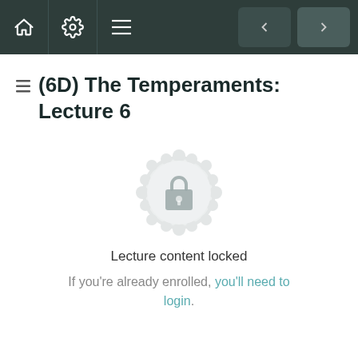Navigation bar with home, settings, menu icons and back/forward arrows
(6D) The Temperaments: Lecture 6
[Figure (illustration): Decorative mandala/gear-shaped badge with a padlock icon in the center, gray color, indicating locked content]
Lecture content locked
If you're already enrolled, you'll need to login.